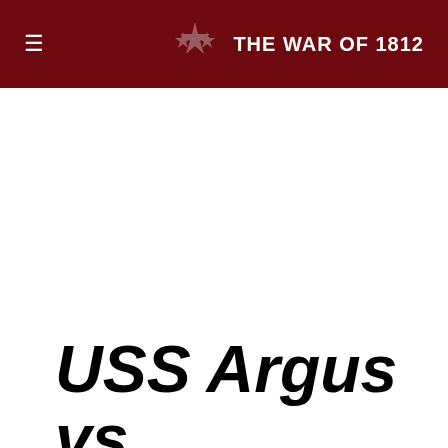≡  THE WAR OF 1812
USS Argus vs. HMS Pelican